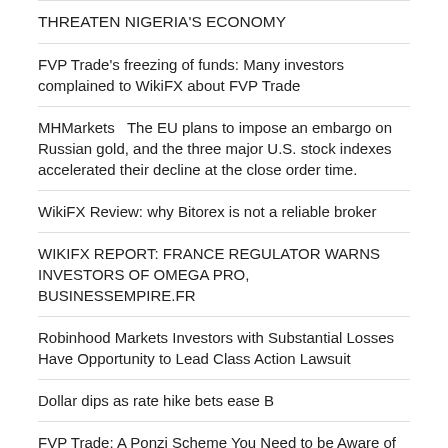THREATEN NIGERIA'S ECONOMY
FVP Trade's freezing of funds: Many investors complained to WikiFX about FVP Trade
MHMarkets  The EU plans to impose an embargo on Russian gold, and the three major U.S. stock indexes accelerated their decline at the close order time.
WikiFX Review: why Bitorex is not a reliable broker
WIKIFX REPORT: FRANCE REGULATOR WARNS INVESTORS OF OMEGA PRO, BUSINESSEMPIRE.FR
Robinhood Markets Investors with Substantial Losses Have Opportunity to Lead Class Action Lawsuit
Dollar dips as rate hike bets ease B
FVP Trade: A Ponzi Scheme You Need to be Aware of
Dow Jones Technical Analysis: Index Rising Cautiously
TAGS